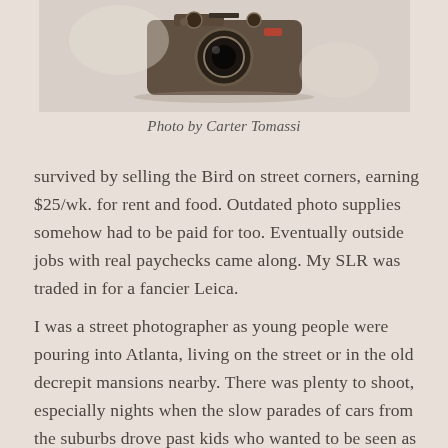[Figure (photo): Vintage film camera (SLR or rangefinder style) photographed from above on a light beige background]
Photo by Carter Tomassi
survived by selling the Bird on street corners, earning $25/wk. for rent and food. Outdated photo supplies somehow had to be paid for too. Eventually outside jobs with real paychecks came along. My SLR was traded in for a fancier Leica.
I was a street photographer as young people were pouring into Atlanta, living on the street or in the old decrepit mansions nearby. There was plenty to shoot, especially nights when the slow parades of cars from the suburbs drove past kids who wanted to be seen as shocking. It was the South's Summer of Love two years